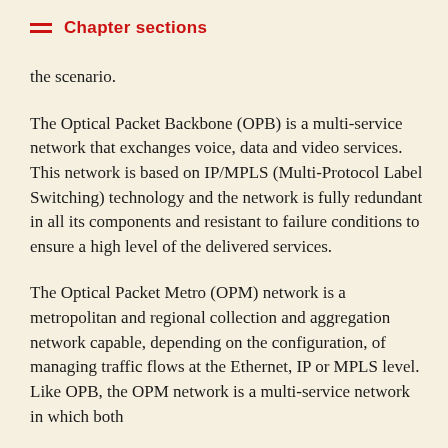Chapter sections
the scenario.
The Optical Packet Backbone (OPB) is a multi-service network that exchanges voice, data and video services. This network is based on IP/MPLS (Multi-Protocol Label Switching) technology and the network is fully redundant in all its components and resistant to failure conditions to ensure a high level of the delivered services.
The Optical Packet Metro (OPM) network is a metropolitan and regional collection and aggregation network capable, depending on the configuration, of managing traffic flows at the Ethernet, IP or MPLS level. Like OPB, the OPM network is a multi-service network in which both fixed and mobile services are combined and...